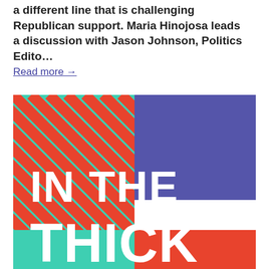a different line that is challenging Republican support. Maria Hinojosa leads a discussion with Jason Johnson, Politics Edito…
Read more →
[Figure (logo): In The Thick podcast logo. Left half has a teal and red diagonal stripe pattern, right half is solid purple/indigo. White bold text reads 'IN THE THICK' spanning the bottom portion. Bottom strip is orange-red.]